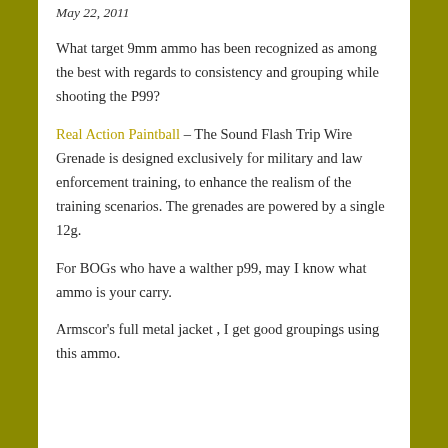May 22, 2011
What target 9mm ammo has been recognized as among the best with regards to consistency and grouping while shooting the P99?
Real Action Paintball – The Sound Flash Trip Wire Grenade is designed exclusively for military and law enforcement training, to enhance the realism of the training scenarios. The grenades are powered by a single 12g.
For BOGs who have a walther p99, may I know what ammo is your carry.
Armscor's full metal jacket , I get good groupings using this ammo.